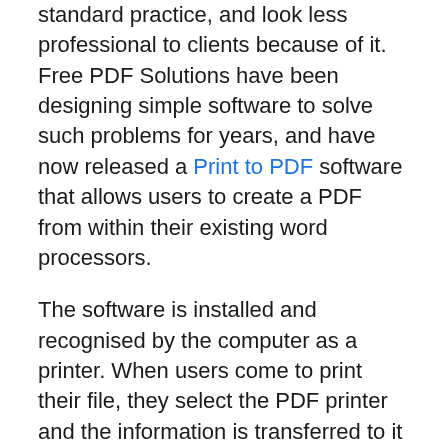standard practice, and look less professional to clients because of it. Free PDF Solutions have been designing simple software to solve such problems for years, and have now released a Print to PDF software that allows users to create a PDF from within their existing word processors.
The software is installed and recognised by the computer as a printer. When users come to print their file, they select the PDF printer and the information is transferred to it as if it were to print the pages. Instead, it uses the information to create a PDF file identical to the file being printed, and saves it as a PDF of the same name.
This allows users to send their information in a format universally accepted by devices of it and